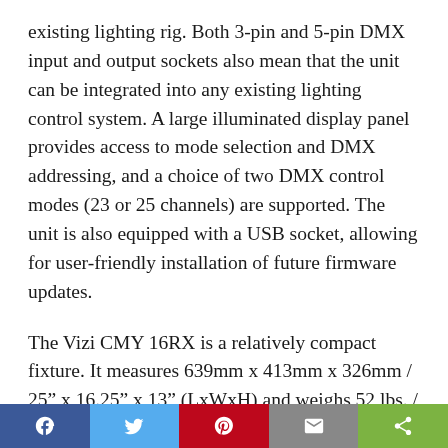existing lighting rig. Both 3-pin and 5-pin DMX input and output sockets also mean that the unit can be integrated into any existing lighting control system. A large illuminated display panel provides access to mode selection and DMX addressing, and a choice of two DMX control modes (23 or 25 channels) are supported. The unit is also equipped with a USB socket, allowing for user-friendly installation of future firmware updates.
The Vizi CMY 16RX is a relatively compact fixture. It measures 639mm x 413mm x 326mm / 25" x 16.25" x 13" (LxWxH) and weighs 52 lbs. / 23.2 kg. The unit's base is fitted with large rubber feet,
[Figure (infographic): Social media sharing bar with Facebook, Twitter, Pinterest, Email, and Share buttons]